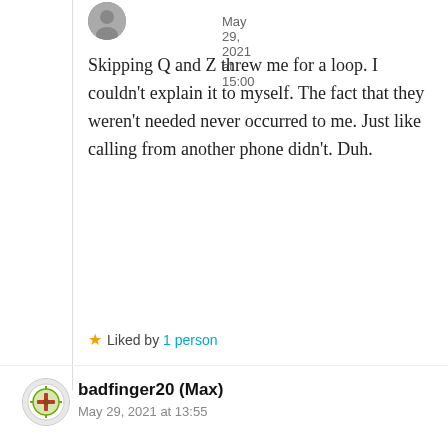May 29, 2021 at 15:00
Skipping Q and Z threw me for a loop. I couldn't explain it to myself. The fact that they weren't needed never occurred to me. Just like calling from another phone didn't. Duh.
Liked by 1 person
badfinger20 (Max)
May 29, 2021 at 13:55
I lived in a small city named Ashland City in